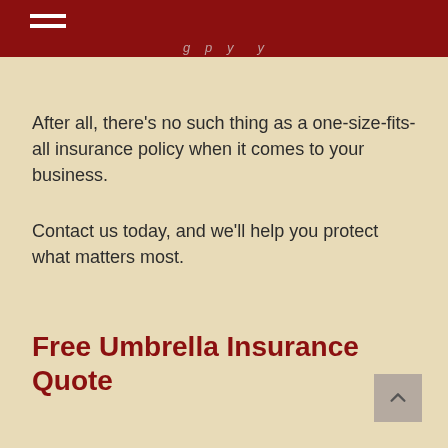[menu icon] ...g p y y
After all, there's no such thing as a one-size-fits-all insurance policy when it comes to your business.
Contact us today, and we'll help you protect what matters most.
Free Umbrella Insurance Quote